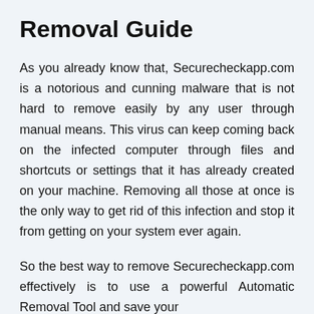Removal Guide
As you already know that, Securecheckapp.com is a notorious and cunning malware that is not hard to remove easily by any user through manual means. This virus can keep coming back on the infected computer through files and shortcuts or settings that it has already created on your machine. Removing all those at once is the only way to get rid of this infection and stop it from getting on your system ever again.
So the best way to remove Securecheckapp.com effectively is to use a powerful Automatic Removal Tool and save your